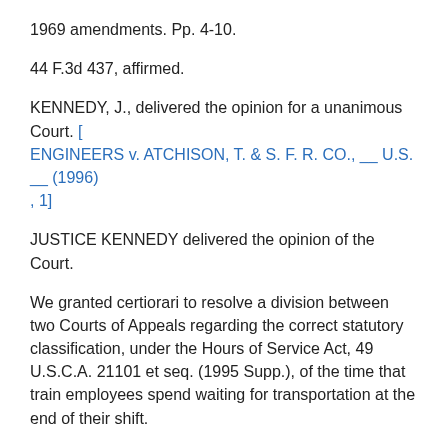1969 amendments. Pp. 4-10.
44 F.3d 437, affirmed.
KENNEDY, J., delivered the opinion for a unanimous Court. [ENGINEERS v. ATCHISON, T. & S. F. R. CO., __ U.S. __ (1996), 1]
JUSTICE KENNEDY delivered the opinion of the Court.
We granted certiorari to resolve a division between two Courts of Appeals regarding the correct statutory classification, under the Hours of Service Act, 49 U.S.C.A. 21101 et seq. (1995 Supp.), of the time that train employees spend waiting for transportation at the end of their shift.
I
Congress enacted the Hours of Service Act (HSA) in 1907. Hours of Service Act, ch. 2939, 1, 34 Stat. 1415. The HSA's